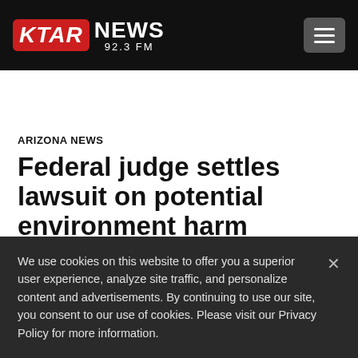KTAR NEWS 92.3 FM
ARIZONA NEWS
Federal judge settles lawsuit on potential environment harm
We use cookies on this website to offer you a superior user experience, analyze site traffic, and personalize content and advertisements. By continuing to use our site, you consent to our use of cookies. Please visit our Privacy Policy for more information.